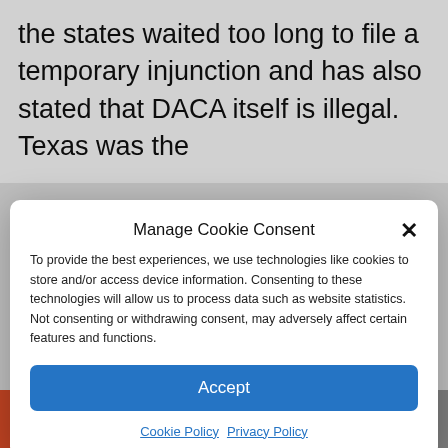the states waited too long to file a temporary injunction and has also stated that DACA itself is illegal. Texas was the
Manage Cookie Consent
To provide the best experiences, we use technologies like cookies to store and/or access device information. Consenting to these technologies will allow us to process data such as website statistics. Not consenting or withdrawing consent, may adversely affect certain features and functions.
Accept
Cookie Policy  Privacy Policy
Hanen rejected the defendants' –